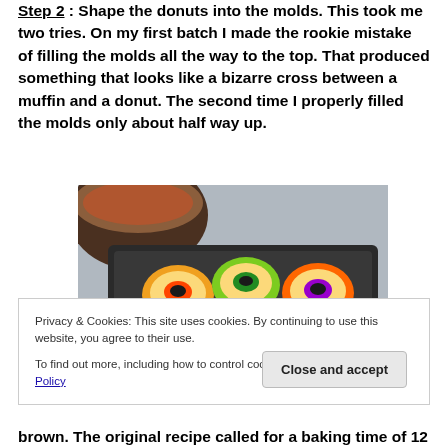Step 2: Shape the donuts into the molds. This took me two tries. On my first batch I made the rookie mistake of filling the molds all the way to the top. That produced something that looks like a bizarre cross between a muffin and a donut. The second time I properly filled the molds only about half way up.
[Figure (photo): Colorful silicone donut molds filled with batter arranged in a dark baking tray, with a mixing bowl visible in the upper left corner.]
Privacy & Cookies: This site uses cookies. By continuing to use this website, you agree to their use. To find out more, including how to control cookies, see here: Cookie Policy
brown. The original recipe called for a baking time of 12